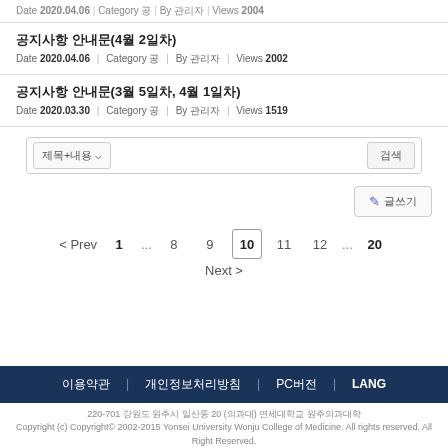Date 2020.04.06 | Category 공 | By 관리자 | Views 2004
공지사항 안내문(4월 2일차)
Date 2020.04.06 | Category 공 | By 관리자 | Views 2002
공지사항 안내문(3월 5일차, 4월 1일차)
Date 2020.03.30 | Category 공 | By 관리자 | Views 1519
제목+내용 ∨  [search input]  검색
✏ 글쓰기
< Prev  1  ...  8  9  10  11  12  ...  20
Next >
이용약관 | 개인정보처리방침 | PC버전 | LANG
220-701 강원도 원주시 일산동 20 (의과대) 연세대학교 의과대학
Copyright (c) Copyright© 2002-2015 Yonsei University Wonju College of Medicine. All rights reserved. All Right Reserved.